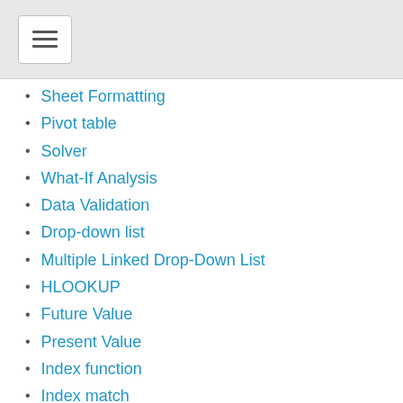☰
Sheet Formatting
Pivot table
Solver
What-If Analysis
Data Validation
Drop-down list
Multiple Linked Drop-Down List
HLOOKUP
Future Value
Present Value
Index function
Index match
How to calculate forecast?
Sumproduct Function
Charts 101
Bar Chart
Column Chart
3 axis Chart
Bullet Chart
Chart from right to left